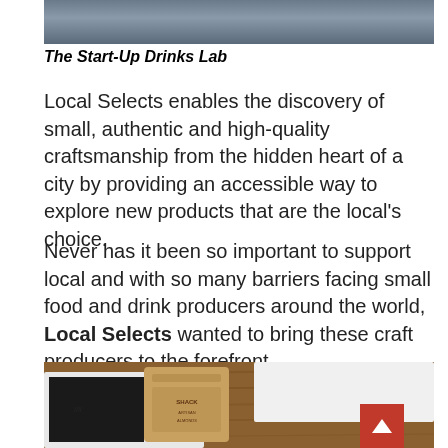[Figure (photo): Partial photo of people in a warehouse/industrial setting, cropped at top]
The Start-Up Drinks Lab
Local Selects enables the discovery of small, authentic and high-quality craftsmanship from the hidden heart of a city by providing an accessible way to explore new products that are the local's choice.
Never has it been so important to support local and with so many barriers facing small food and drink producers around the world, Local Selects wanted to bring these craft producers to the forefront.
[Figure (photo): Photo of a craft food product bag labeled 'SHACK' in a white box with black filler material, on a wooden surface]